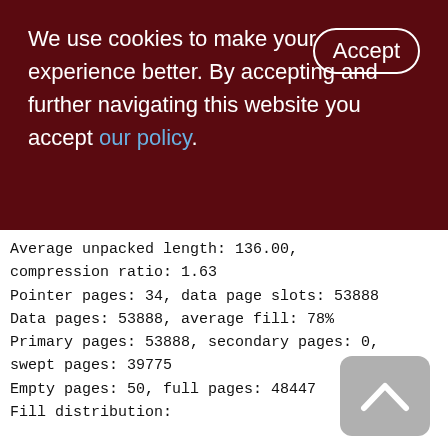We use cookies to make your experience better. By accepting and further navigating this website you accept our policy.
Average unpacked length: 136.00, compression ratio: 1.63
Pointer pages: 34, data page slots: 53888
Data pages: 53888, average fill: 78%
Primary pages: 53888, secondary pages: 0, swept pages: 39775
Empty pages: 50, full pages: 48447
Fill distribution:
0 - 19% = 121
20 - 39% = 216
40 - 59% = 1035
60 - 79% = 23325
80 - 99% = 30101